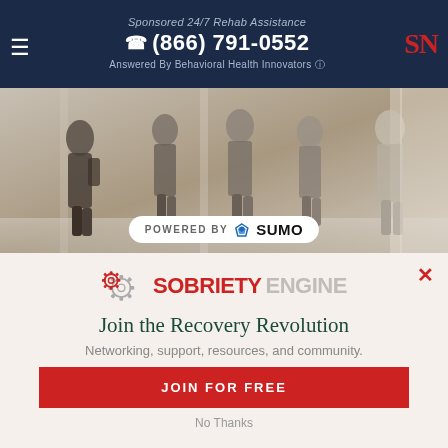Sponsored 24/7 Rehab Assistance
☎ (866) 791-0552
Answered By Behavioral Health Innovators
[Figure (photo): Group of young people walking in a hallway, silhouette-style photo with a 'POWERED BY SUMO' badge overlay]
[Figure (logo): Sobriety Engine logo with gear icons and red/grey text]
Join the Recovery Revolution
Networking, support, resources, and community.
JOIN FOR FREE
No Thanks